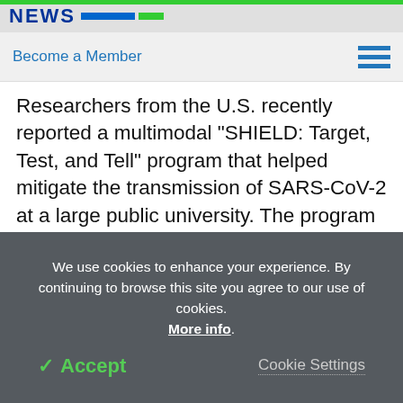NEWS [logo with colored bars]
Become a Member
Researchers from the U.S. recently reported a multimodal "SHIELD: Target, Test, and Tell" program that helped mitigate the transmission of SARS-CoV-2 at a large public university. The program also prevented community transmission and helped the continuation of in-person classes during the pandemic. This study is available on the medRxiv* preprint server.
We use cookies to enhance your experience. By continuing to browse this site you agree to our use of cookies. More info.
✓ Accept
Cookie Settings